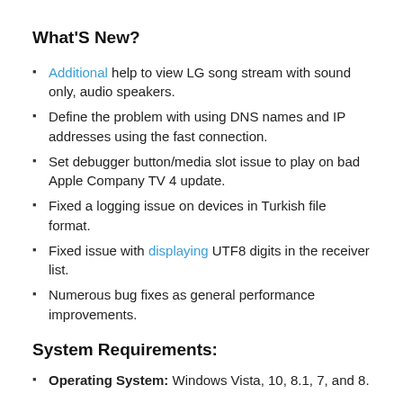What'S New?
Additional help to view LG song stream with sound only, audio speakers.
Define the problem with using DNS names and IP addresses using the fast connection.
Set debugger button/media slot issue to play on bad Apple Company TV 4 update.
Fixed a logging issue on devices in Turkish file format.
Fixed issue with displaying UTF8 digits in the receiver list.
Numerous bug fixes as general performance improvements.
System Requirements:
Operating System: Windows Vista, 10, 8.1, 7, and 8.